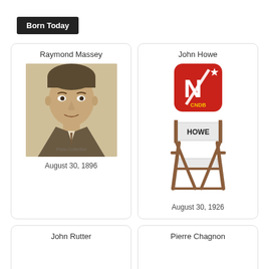Born Today
Raymond Massey
[Figure (photo): Black and white portrait photo of Raymond Massey]
August 30, 1896
John Howe
[Figure (logo): CNDB red logo icon with star and letter N]
[Figure (photo): Director's chair with HOWE written on the back]
August 30, 1926
John Rutter
Pierre Chagnon